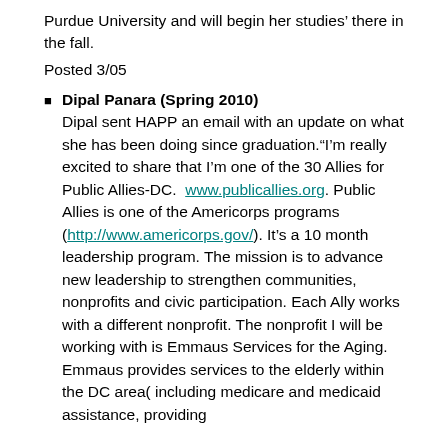Purdue University and will begin her studies’ there in the fall.
Posted 3/05
Dipal Panara (Spring 2010) — Dipal sent HAPP an email with an update on what she has been doing since graduation.“I’m really excited to share that I’m one of the 30 Allies for Public Allies-DC. www.publicallies.org. Public Allies is one of the Americorps programs (http://www.americorps.gov/). It’s a 10 month leadership program. The mission is to advance new leadership to strengthen communities, nonprofits and civic participation. Each Ally works with a different nonprofit. The nonprofit I will be working with is Emmaus Services for the Aging. Emmaus provides services to the elderly within the DC area( including medicare and medicaid assistance, providing